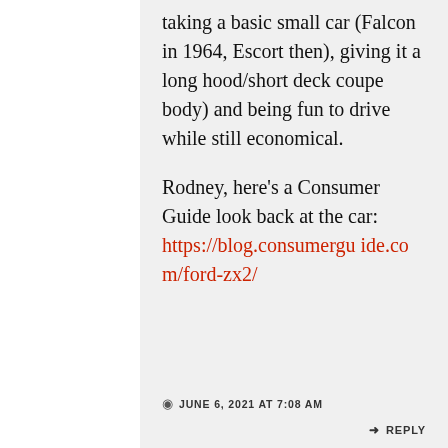taking a basic small car (Falcon in 1964, Escort then), giving it a long hood/short deck coupe body) and being fun to drive while still economical.
Rodney, here's a Consumer Guide look back at the car: https://blog.consumerguide.com/ford-zx2/
JUNE 6, 2021 AT 7:08 AM    REPLY